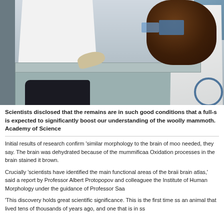[Figure (photo): Scientists in white lab coats examining a mammoth specimen (dark, mummified remains) on a metal table in a laboratory setting.]
Scientists disclosed that the remains are in such good conditions that a full-s... is expected to significantly boost our understanding of the woolly mammoth. Academy of Science
Initial results of research confirm 'similar morphology to the brain of mo... needed, they say. The brain was dehydrated because of the mummifica... Oxidation processes in the brain stained it brown.
Crucially 'scientists have identified the main functional areas of the brai... brain atlas,' said a report by Professor Albert Protopopov and colleague... the Institute of Human Morphology under the guidance of Professor Sa...
'This discovery holds great scientific significance. This is the first time s... an animal that lived tens of thousands of years ago, and one that is in s...